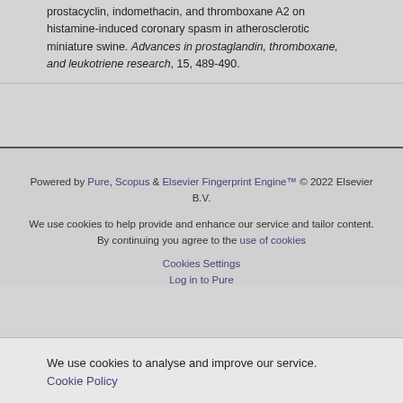prostacyclin, indomethacin, and thromboxane A2 on histamine-induced coronary spasm in atherosclerotic miniature swine. Advances in prostaglandin, thromboxane, and leukotriene research, 15, 489-490.
Powered by Pure, Scopus & Elsevier Fingerprint Engine™ © 2022 Elsevier B.V.
We use cookies to help provide and enhance our service and tailor content. By continuing you agree to the use of cookies
Cookies Settings
Log in to Pure
We use cookies to analyse and improve our service. Cookie Policy